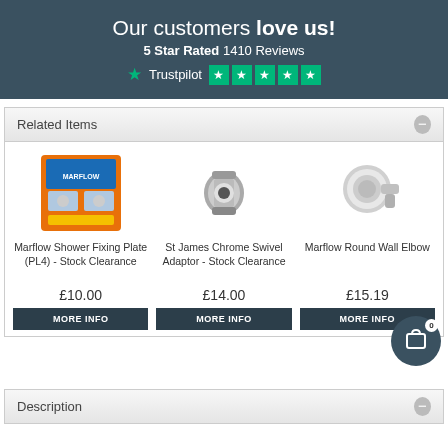Our customers love us! 5 Star Rated 1410 Reviews Trustpilot ★★★★★
Related Items
Marflow Shower Fixing Plate (PL4) - Stock Clearance
£10.00
MORE INFO
St James Chrome Swivel Adaptor - Stock Clearance
£14.00
MORE INFO
Marflow Round Wall Elbow
£15.19
MORE INFO
Description